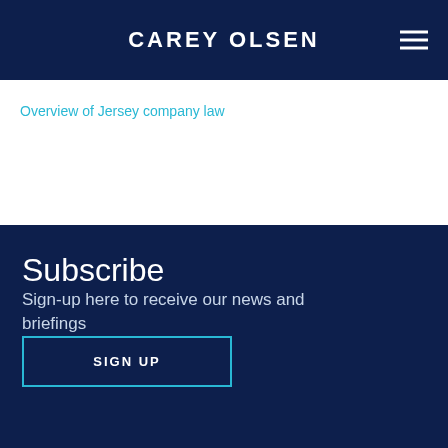CAREY OLSEN
Overview of Jersey company law
Subscribe
Sign-up here to receive our news and briefings
SIGN UP